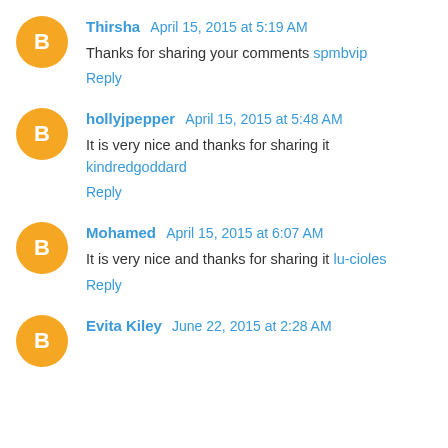Thirsha April 15, 2015 at 5:19 AM
Thanks for sharing your comments spmbvip
Reply
hollyjpepper April 15, 2015 at 5:48 AM
It is very nice and thanks for sharing it kindredgoddard
Reply
Mohamed April 15, 2015 at 6:07 AM
It is very nice and thanks for sharing it lu-cioles
Reply
Evita Kiley June 22, 2015 at 2:28 AM